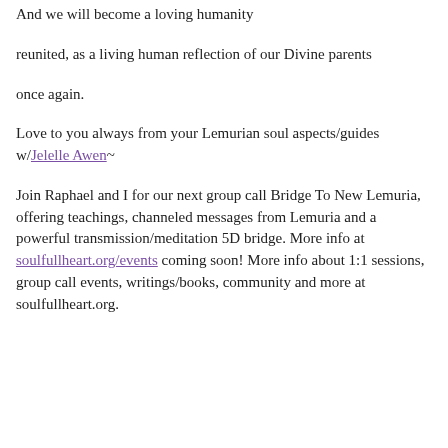And we will become a loving humanity
reunited, as a living human reflection of our Divine parents
once again.
Love to you always from your Lemurian soul aspects/guides w/Jelelle Awen~
Join Raphael and I for our next group call Bridge To New Lemuria, offering teachings, channeled messages from Lemuria and a powerful transmission/meditation 5D bridge. More info at soulfullheart.org/events coming soon! More info about 1:1 sessions, group call events, writings/books, community and more at soulfullheart.org.